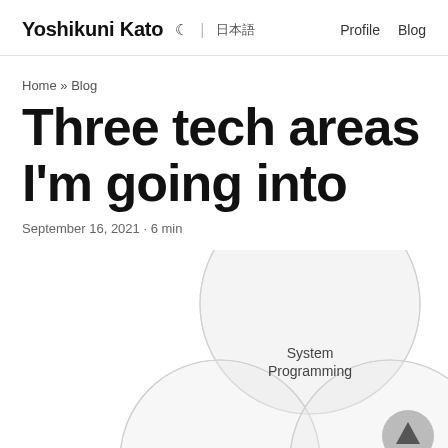Yoshikuni Kato ☽ | 日本語   Profile  Blog
Home » Blog
Three tech areas I'm going into
September 16, 2021 · 6 min
[Figure (illustration): Venn diagram showing overlapping circles including one labeled 'System Programming', partially visible circles below, and a scroll-to-top button (triangle/arrow in circle) at bottom right]